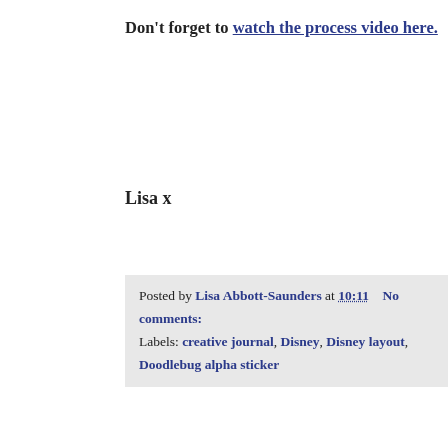Don't forget to watch the process video here.
Lisa x
Posted by Lisa Abbott-Saunders at 10:11   No comments:
Labels: creative journal, Disney, Disney layout, Doodlebug alpha sticker
Monday, 28 March 2022
Bloom - Simple Stories - Simple Vintage
Hello, Rebecca with you today sharing my second layo... Simple Vintage Indigo Garden collection from Simple store here.
I'm really loving the ‘minimalistic’ look at the momento space. I find that when I overload a page and add too m much and miss things when glancing back at the page